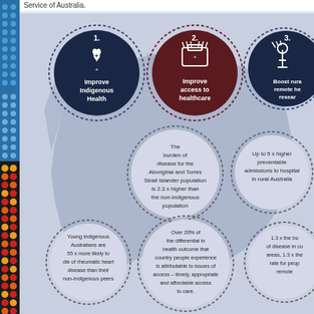Service of Australia.
[Figure (infographic): Infographic showing 3 numbered goals (Improve Indigenous Health, Improve access to healthcare, Boost rural remote health research) as dark circles at top, with supporting statistics in dotted light circles below: 'The burden of disease for the Aboriginal and Torres Strait Islander population is 2.3 x higher than the non-Indigenous population', 'Up to 5 x higher preventable admissions to hospital in rural Australia', 'Young Indigenous Australians are 55 x more likely to die of rheumatic heart disease than their non-Indigenous peers', 'Over 20% of the differential in health outcome that country people experience is attributable to issues of access – timely, appropriate and affordable access to care.', '1.3 x the burden of disease in country areas, 1.3 x the rate for people in remote...' - all overlaid on a map of Australia.]